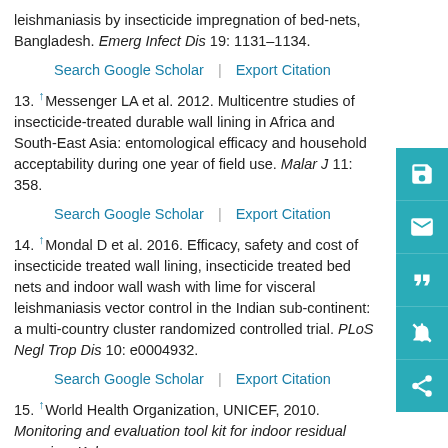leishmaniasis by insecticide impregnation of bed-nets, Bangladesh. Emerg Infect Dis 19: 1131–1134.
Search Google Scholar | Export Citation
13. ↑Messenger LA et al. 2012. Multicentre studies of insecticide-treated durable wall lining in Africa and South-East Asia: entomological efficacy and household acceptability during one year of field use. Malar J 11: 358.
Search Google Scholar | Export Citation
14. ↑Mondal D et al. 2016. Efficacy, safety and cost of insecticide treated wall lining, insecticide treated bed nets and indoor wall wash with lime for visceral leishmaniasis vector control in the Indian sub-continent: a multi-country cluster randomized controlled trial. PLoS Negl Trop Dis 10: e0004932.
Search Google Scholar | Export Citation
15. ↑World Health Organization, UNICEF, 2010. Monitoring and evaluation tool kit for indoor residual spraying: Kala-